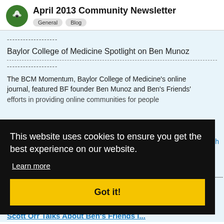April 2013 Community Newsletter
General  Blog
-------------------
Baylor College of Medicine Spotlight on Ben Munoz
-------------------
The BCM Momentum, Baylor College of Medicine's online journal, featured BF founder Ben Munoz and Ben's Friends' efforts in providing online communities for people...
This website uses cookies to ensure you get the best experience on our website. Learn more Got it!
Scott Orr Talks About Ben's Friends i...